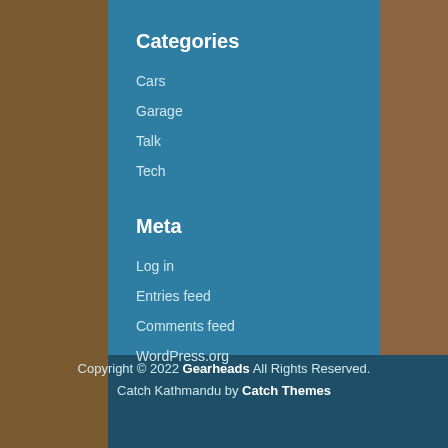Categories
Cars
Garage
Talk
Tech
Meta
Log in
Entries feed
Comments feed
WordPress.org
Copyright © 2022 Gearheads  All Rights Reserved. Catch Kathmandu by Catch Themes